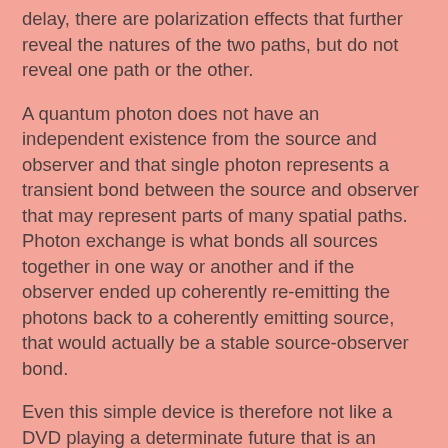delay, there are polarization effects that further reveal the natures of the two paths, but do not reveal one path or the other.
A quantum photon does not have an independent existence from the source and observer and that single photon represents a transient bond between the source and observer that may represent parts of many spatial paths. Photon exchange is what bonds all sources together in one way or another and if the observer ended up coherently re-emitting the photons back to a coherently emitting source, that would actually be a stable source-observer bond.
Even this simple device is therefore not like a DVD playing a determinate future that is an already recorded script of the universe. Rather, a single photon measurement is like a live stage play with the same script of the universe as the DVD, but with constant rewriting during the performance. A performer is a source of photons and the audience is observers of those photons and there are no exactly determinate futures for the scripts of any of those photons. But there is a bonding state between the performers and the